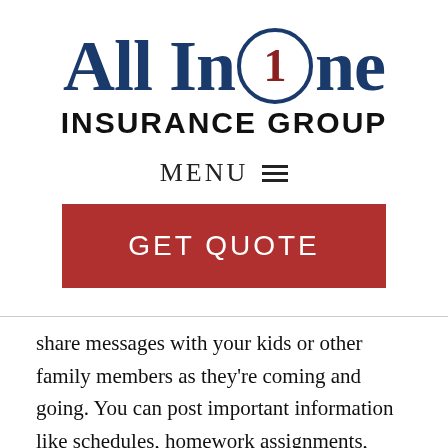[Figure (logo): All In One Insurance Group logo: large serif blue text 'All In' then a circle with red '1' inside, then blue 'ne', below in bold sans-serif 'INSURANCE GROUP']
MENU ☰
GET QUOTE
share messages with your kids or other family members as they're coming and going. You can post important information like schedules, homework assignments, chores, grocery lists